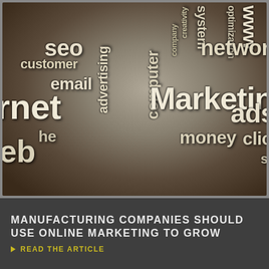[Figure (photo): 3D word cloud / typographic illustration featuring marketing-related terms such as 'Marketing', 'internet', 'SEO', 'customer', 'email', 'WWW', 'network', 'ads', 'money', 'click', 'visitors', 'search', 'advertising', 'computer', 'system', 'optimization', 'web', 'creativity', 'company' arranged in various orientations on a dark brown surface with dramatic lighting.]
MANUFACTURING COMPANIES SHOULD USE ONLINE MARKETING TO GROW
READ THE ARTICLE